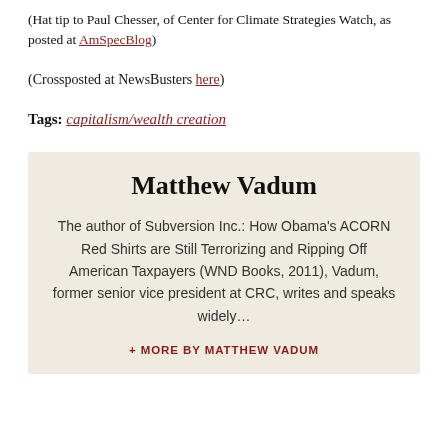(Hat tip to Paul Chesser, of Center for Climate Strategies Watch, as posted at AmSpecBlog)
(Crossposted at NewsBusters here)
Tags: capitalism/wealth creation
Matthew Vadum
The author of Subversion Inc.: How Obama's ACORN Red Shirts are Still Terrorizing and Ripping Off American Taxpayers (WND Books, 2011), Vadum, former senior vice president at CRC, writes and speaks widely…
+ MORE BY MATTHEW VADUM